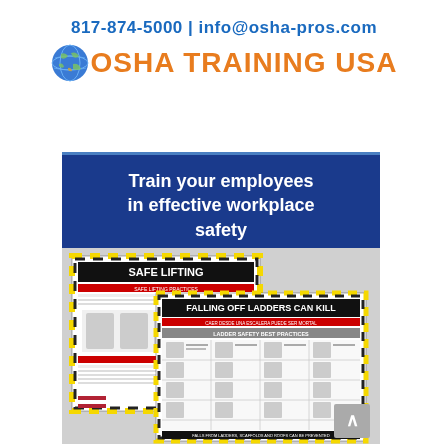817-874-5000 | info@osha-pros.com
[Figure (logo): OSHA Training USA logo with globe icon]
Train your employees in effective workplace safety
[Figure (photo): Safety training posters including Safe Lifting, Falling Off Ladders Can Kill, Slip, and ladder safety best practices posters]